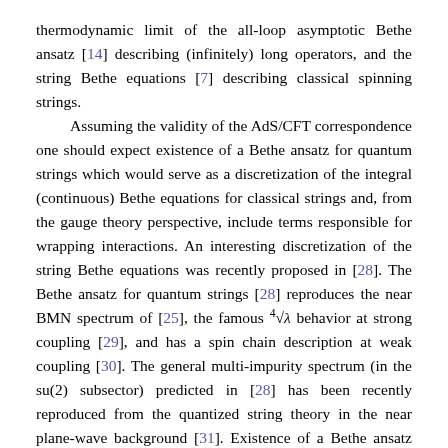thermodynamic limit of the all-loop asymptotic Bethe ansatz [14] describing (infinitely) long operators, and the string Bethe equations [7] describing classical spinning strings.

Assuming the validity of the AdS/CFT correspondence one should expect existence of a Bethe ansatz for quantum strings which would serve as a discretization of the integral (continuous) Bethe equations for classical strings and, from the gauge theory perspective, include terms responsible for wrapping interactions. An interesting discretization of the string Bethe equations was recently proposed in [28]. The Bethe ansatz for quantum strings [28] reproduces the near BMN spectrum of [25], the famous ∜λ behavior at strong coupling [29], and has a spin chain description at weak coupling [30]. The general multi-impurity spectrum (in the su(2) subsector) predicted in [28] has been recently reproduced from the quantized string theory in the near plane-wave background [31]. Existence of a Bethe ansatz with such remarkable properties provides a strong evidence